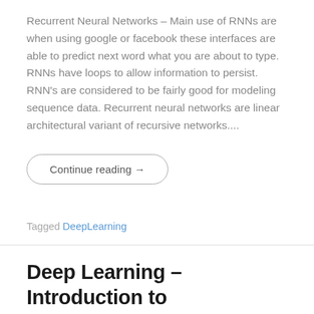Recurrent Neural Networks – Main use of RNNs are when using google or facebook these interfaces are able to predict next word what you are about to type. RNNs have loops to allow information to persist. RNN's are considered to be fairly good for modeling sequence data. Recurrent neural networks are linear architectural variant of recursive networks....
Continue reading →
Tagged DeepLearning
Deep Learning – Introduction to Convolutional Neural Networks